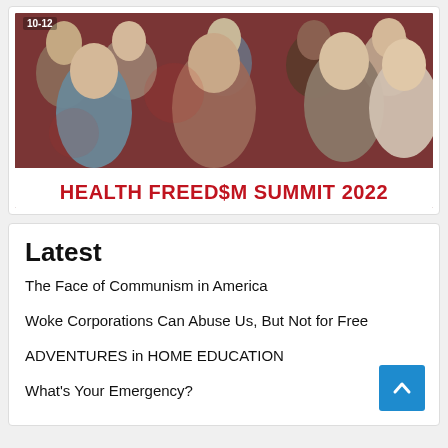[Figure (photo): Health Freedom Summit 2022 promotional banner showing a group photo of several speakers/people against a stylized background, with the text '10-12' visible at the top and 'HEALTH FREEDOM SUMMIT 2022' in bold red letters at the bottom.]
Latest
The Face of Communism in America
Woke Corporations Can Abuse Us, But Not for Free
ADVENTURES in HOME EDUCATION
What's Your Emergency?